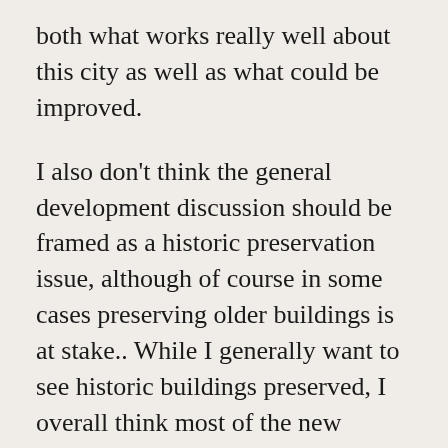both what works really well about this city as well as what could be improved.
I also don't think the general development discussion should be framed as a historic preservation issue, although of course in some cases preserving older buildings is at stake.. While I generally want to see historic buildings preserved, I overall think most of the new development in Minneapolis is a great thing. Uptown has changed a great deal since I was a kid; it's become far more expensive, and while I am a happy renter, I doubt